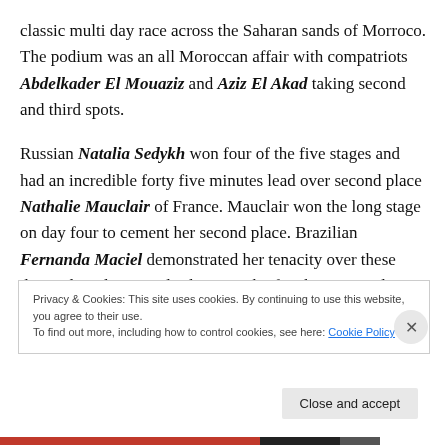classic multi day race across the Saharan sands of Morroco. The podium was an all Moroccan affair with compatriots Abdelkader El Mouaziz and Aziz El Akad taking second and third spots.

Russian Natalia Sedykh won four of the five stages and had an incredible forty five minutes lead over second place Nathalie Mauclair of France. Mauclair won the long stage on day four to cement her second place. Brazilian Fernanda Maciel demonstrated her tenacity over these demanding desert multi day races by finishing strongly in
Privacy & Cookies: This site uses cookies. By continuing to use this website, you agree to their use.
To find out more, including how to control cookies, see here: Cookie Policy